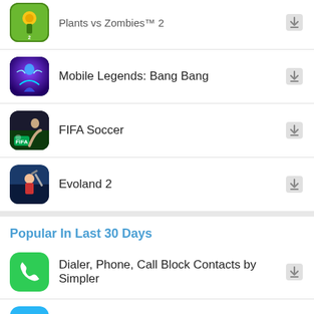[Figure (screenshot): App list screenshot showing mobile app store entries including Plants vs Zombies 2 (partial), Mobile Legends: Bang Bang, FIFA Soccer, Evoland 2, and a 'Popular In Last 30 Days' section with Dialer Phone Call Block Contacts by Simpler, Cleaner - Merge Duplicate Contacts, and a partial third entry.]